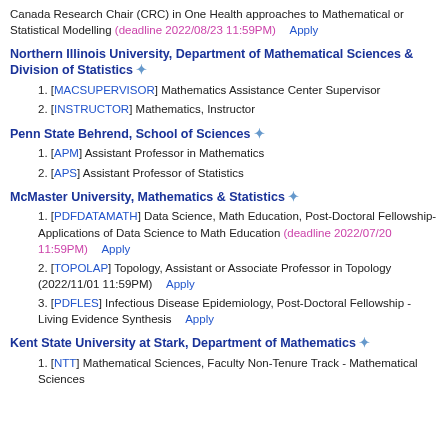Canada Research Chair (CRC) in One Health approaches to Mathematical or Statistical Modelling (deadline 2022/08/23 11:59PM)   Apply
Northern Illinois University, Department of Mathematical Sciences & Division of Statistics ✦
1. [MACSUPERVISOR] Mathematics Assistance Center Supervisor
2. [INSTRUCTOR] Mathematics, Instructor
Penn State Behrend, School of Sciences ✦
1. [APM] Assistant Professor in Mathematics
2. [APS] Assistant Professor of Statistics
McMaster University, Mathematics & Statistics ✦
1. [PDFDATAMATH] Data Science, Math Education, Post-Doctoral Fellowship-Applications of Data Science to Math Education (deadline 2022/07/20 11:59PM)   Apply
2. [TOPOLAP] Topology, Assistant or Associate Professor in Topology (2022/11/01 11:59PM)   Apply
3. [PDFLES] Infectious Disease Epidemiology, Post-Doctoral Fellowship - Living Evidence Synthesis   Apply
Kent State University at Stark, Department of Mathematics ✦
1. [NTT] Mathematical Sciences, Faculty Non-Tenure Track - Mathematical Sciences